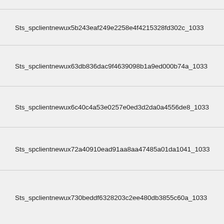Sts_spclientnewux5b243eaf249e2258e4f4215328fd302c_1033
Sts_spclientnewux63db836dac9f4639098b1a9ed000b74a_1033
Sts_spclientnewux6c40c4a53e0257e0ed3d2da0a4556de8_1033
Sts_spclientnewux72a40910ead91aa8aa47485a01da1041_1033
Sts_spclientnewux730beddf6328203c2ee480db3855c60a_1033